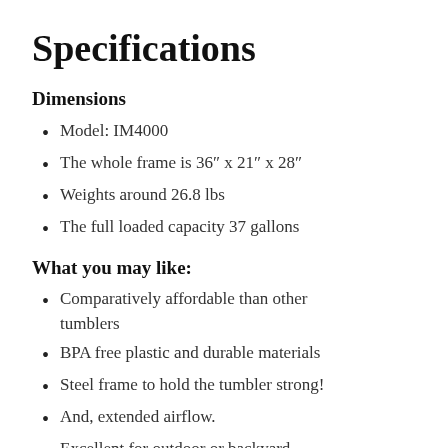Specifications
Dimensions
Model: IM4000
The whole frame is 36″ x 21″ x 28″
Weights around 26.8 lbs
The full loaded capacity 37 gallons
What you may like:
Comparatively affordable than other tumblers
BPA free plastic and durable materials
Steel frame to hold the tumbler strong!
And, extended airflow.
Excellent for outdoor or backyard